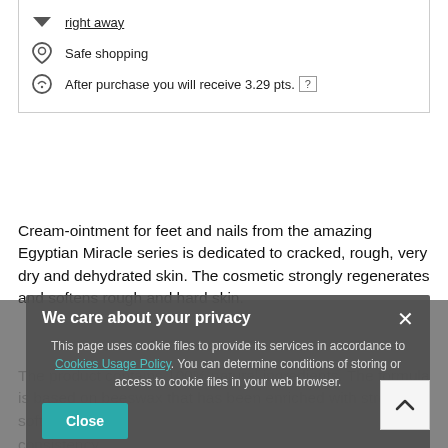right away
Safe shopping
After purchase you will receive 3.29 pts. [?]
Cream-ointment for feet and nails from the amazing Egyptian Miracle series is dedicated to cracked, rough, very dry and dehydrated skin. The cosmetic strongly regenerates and softens rough and hard skin.
The product contains 100% natural ingredients. The formula is based on beeswax that has been enriched with strongly softening ... consistency.
[Figure (screenshot): Cookie consent modal overlay: 'We care about your privacy' with text about cookie usage policy, a teal Close button, and a scroll-to-top arrow button.]